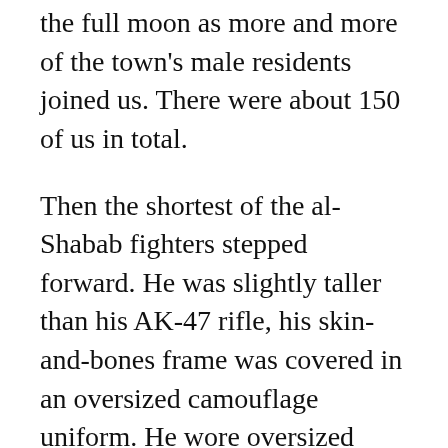the full moon as more and more of the town's male residents joined us. There were about 150 of us in total.
Then the shortest of the al-Shabab fighters stepped forward. He was slightly taller than his AK-47 rifle, his skin-and-bones frame was covered in an oversized camouflage uniform. He wore oversized sandals that looked too heavy for his tiny feet. With a stainless steel torch in his left hand, he started collecting everyone's cellphones. Surprisingly he had a deep chesty voice for someone of such a small frame, which made the orders he was barking sound more serious and threatening.
He passed the phones to his colleagues who